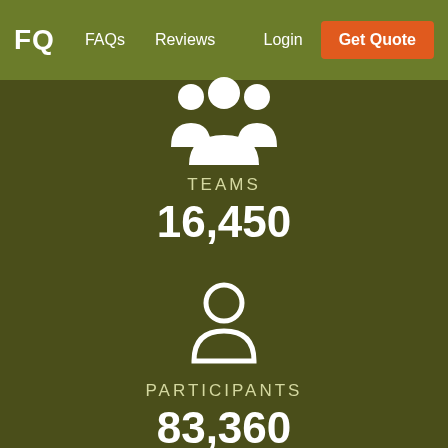FQ  FAQs  Reviews  Login  Get Quote
[Figure (infographic): White group/teams icon (three people silhouette)]
TEAMS
16,450
[Figure (infographic): White single person/participant icon (person silhouette)]
PARTICIPANTS
83,360